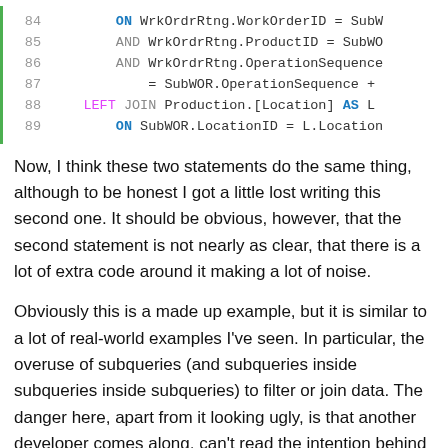[Figure (screenshot): SQL code snippet with line numbers 84-89, showing ON/AND/LEFT JOIN clauses with syntax highlighting (blue keywords, gray AND keywords, pink LEFT keyword)]
Now, I think these two statements do the same thing, although to be honest I got a little lost writing this second one. It should be obvious, however, that the second statement is not nearly as clear, that there is a lot of extra code around it making a lot of noise.
Obviously this is a made up example, but it is similar to a lot of real-world examples I've seen. In particular, the overuse of subqueries (and subqueries inside subqueries inside subqueries) to filter or join data. The danger here, apart from it looking ugly, is that another developer comes along, can't read the intention behind the original code